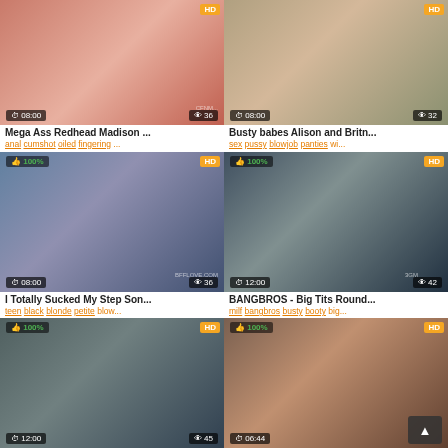[Figure (screenshot): Video thumbnail grid showing adult video listings with thumbnails, titles, tags, duration and view counts]
Mega Ass Redhead Madison ...
anal cumshot oiled fingering ...
Busty babes Alison and Britn...
sex pussy blowjob panties wi...
I Totally Sucked My Step Son...
teen black blonde petite blow...
BANGBROS - Big Tits Round...
milf bangbros busty booty big...